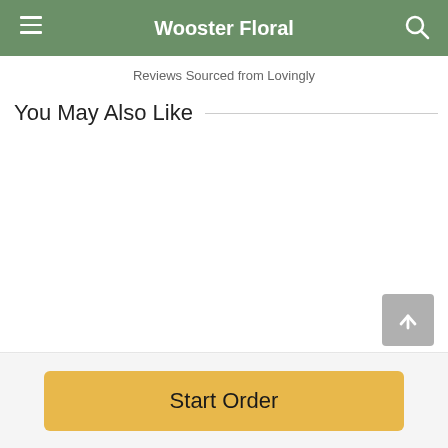Wooster Floral
Reviews Sourced from Lovingly
You May Also Like
Start Order